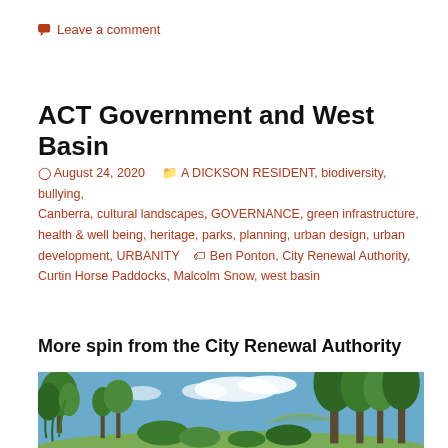Leave a comment
ACT Government and West Basin
August 24, 2020   A DICKSON RESIDENT, biodiversity, bullying, Canberra, cultural landscapes, GOVERNANCE, green infrastructure, health & well being, heritage, parks, planning, urban design, urban development, URBANITY   Ben Ponton, City Renewal Authority, Curtin Horse Paddocks, Malcolm Snow, west basin
More spin from the City Renewal Authority
[Figure (photo): Photograph of trees and parkland under a partly cloudy blue sky, likely near West Basin, Canberra.]